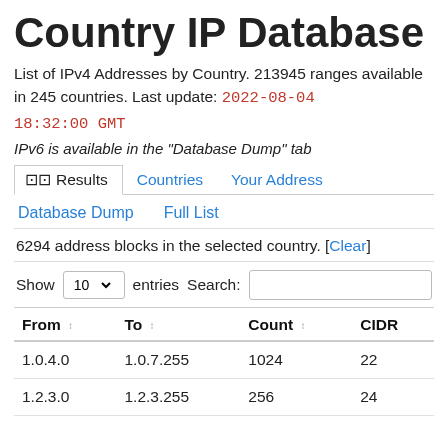Country IP Database
List of IPv4 Addresses by Country. 213945 ranges available in 245 countries. Last update: 2022-08-04 18:32:00 GMT
IPv6 is available in the "Database Dump" tab
Results | Countries | Your Address | Database Dump | Full List
6294 address blocks in the selected country. [Clear]
Show 10 entries Search:
| From | To | Count | CIDR |
| --- | --- | --- | --- |
| 1.0.4.0 | 1.0.7.255 | 1024 | 22 |
| 1.2.3.0 | 1.2.3.255 | 256 | 24 |